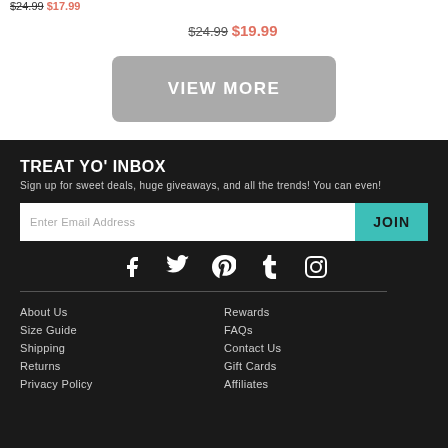$24.99 $17.99
$24.99 $19.99
VIEW MORE
TREAT YO' INBOX
Sign up for sweet deals, huge giveaways, and all the trends! You can even!
Enter Email Address | JOIN
[Figure (infographic): Social media icons: Facebook, Twitter, Pinterest, Tumblr, Instagram]
About Us
Rewards
Size Guide
FAQs
Shipping
Contact Us
Returns
Gift Cards
Privacy Policy
Affiliates